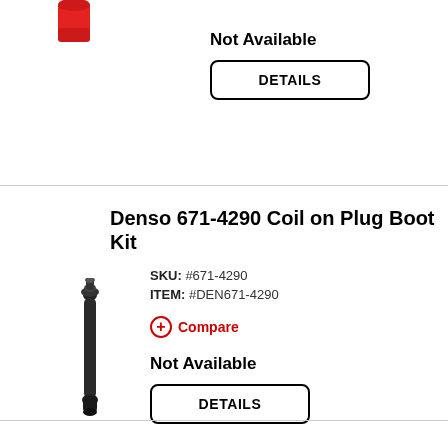[Figure (photo): Red cylindrical cap/plug product image (partial, top cropped), shown at top left]
Not Available
DETAILS
Denso 671-4290 Coil on Plug Boot Kit
[Figure (photo): Black coil-on-plug boot, elongated cylindrical shape with small knob at top, shown vertically]
SKU: #671-4290
ITEM: #DEN671-4290
+ Compare
Not Available
DETAILS